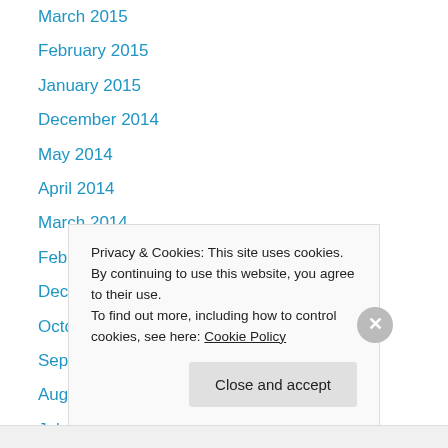March 2015
February 2015
January 2015
December 2014
May 2014
April 2014
March 2014
February 2014
December 2013
October 2013
September 2013
August 2013
July 2013
Privacy & Cookies: This site uses cookies. By continuing to use this website, you agree to their use.
To find out more, including how to control cookies, see here: Cookie Policy
Close and accept